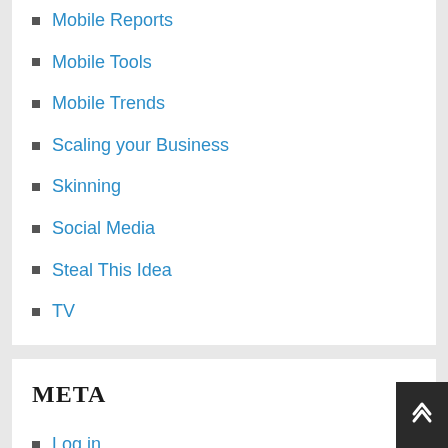Mobile Reports
Mobile Tools
Mobile Trends
Scaling your Business
Skinning
Social Media
Steal This Idea
TV
META
Log in
Entries feed
Comments feed